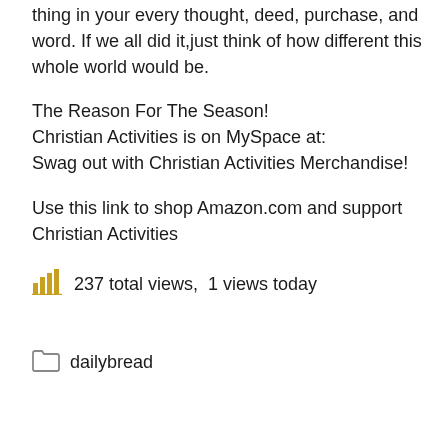thing in your every thought, deed, purchase, and word. If we all did it,just think of how different this whole world would be.
The Reason For The Season! Christian Activities is on MySpace at: Swag out with Christian Activities Merchandise!
Use this link to shop Amazon.com and support Christian Activities
237 total views,  1 views today
dailybread